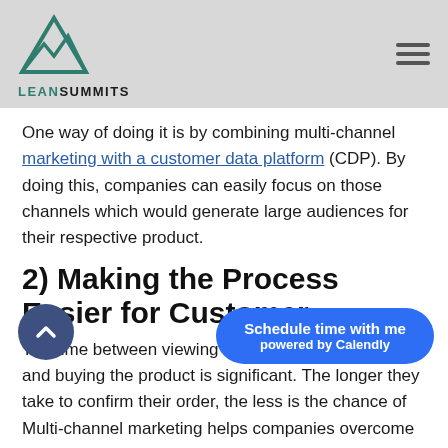LEANSUMMITS
One way of doing it is by combining multi-channel marketing with a customer data platform (CDP). By doing this, companies can easily focus on those channels which would generate large audiences for their respective product.
2) Making the Process Easier for Customer
The time between viewing the marketing message and buying the product is significant. The longer they take to confirm their order, the less is the chance of them buying it.
Multi-channel marketing helps companies overcome